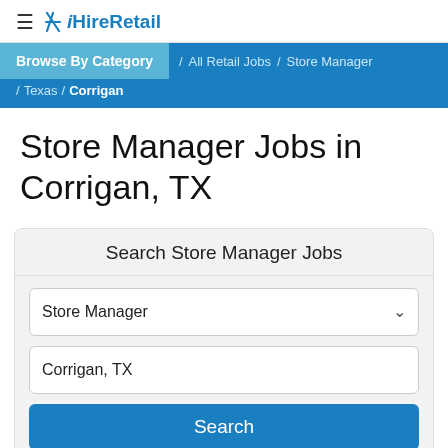≡ iHireRetail
Browse By Category / All Retail Jobs / Store Manager / Texas / Corrigan
Store Manager Jobs in Corrigan, TX
Search Store Manager Jobs
Store Manager
Corrigan, TX
Search